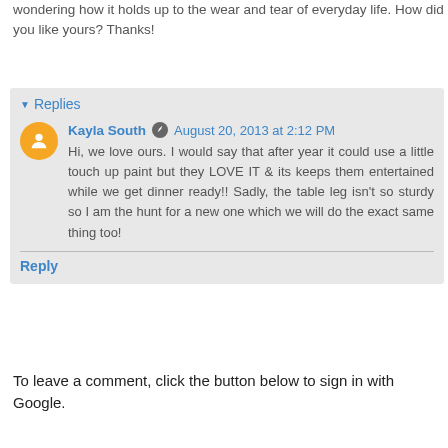wondering how it holds up to the wear and tear of everyday life. How did you like yours? Thanks!
Reply
Replies
Kayla South  August 20, 2013 at 2:12 PM
Hi, we love ours. I would say that after year it could use a little touch up paint but they LOVE IT & its keeps them entertained while we get dinner ready!! Sadly, the table leg isn't so sturdy so I am the hunt for a new one which we will do the exact same thing too!
Reply
To leave a comment, click the button below to sign in with Google.
SIGN IN WITH GOOGLE